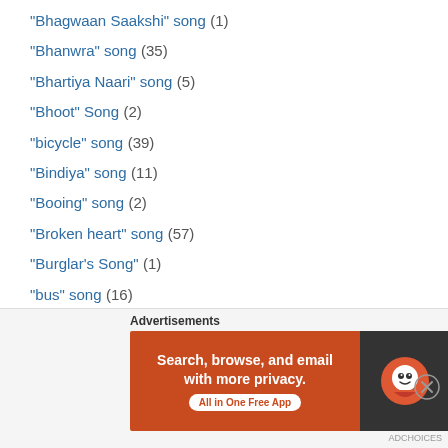"Bhagwaan Saakshi" song (1)
"Bhanwra" song (35)
"Bhartiya Naari" song (5)
"Bhoot" Song (2)
"bicycle" song (39)
"Bindiya" song (11)
"Booing" song (2)
"Broken heart" song (57)
"Burglar's Song" (1)
"bus" song (16)
"Calamity" song (1)
"Calender" song (1)
"Caravan" song (2)
"chaand" song (357)
"chaayageet" song (203)
"chal ud ja re panchi" song (15)
[Figure (screenshot): DuckDuckGo advertisement banner with orange background: 'Search, browse, and email with more privacy. All in One Free App']